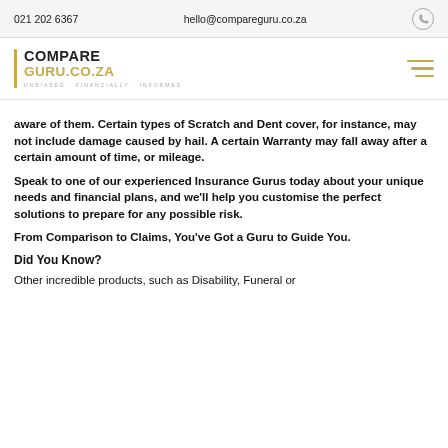021 202 6367  hello@compareguru.co.za
[Figure (logo): CompareGuru.co.za logo with gold vertical bar and tagline 'Unbiased. Financially Informed.']
aware of them. Certain types of Scratch and Dent cover, for instance, may not include damage caused by hail. A certain Warranty may fall away after a certain amount of time, or mileage.
Speak to one of our experienced Insurance Gurus today about your unique needs and financial plans, and we'll help you customise the perfect solutions to prepare for any possible risk.
From Comparison to Claims, You've Got a Guru to Guide You.
Did You Know?
Other incredible products, such as Disability, Funeral or